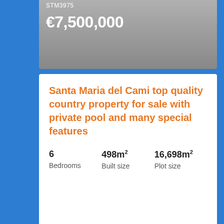STM3975
€7,500,000
Santa Maria del Cami top quality country property for sale with private pool and many special features
6 Bedrooms
498m² Built size
16,698m² Plot size